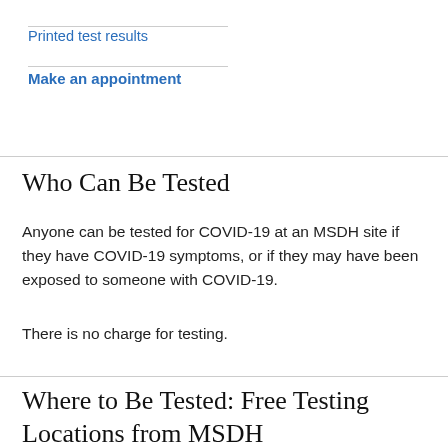Printed test results
Make an appointment
Who Can Be Tested
Anyone can be tested for COVID-19 at an MSDH site if they have COVID-19 symptoms, or if they may have been exposed to someone with COVID-19.
There is no charge for testing.
Where to Be Tested: Free Testing Locations from MSDH